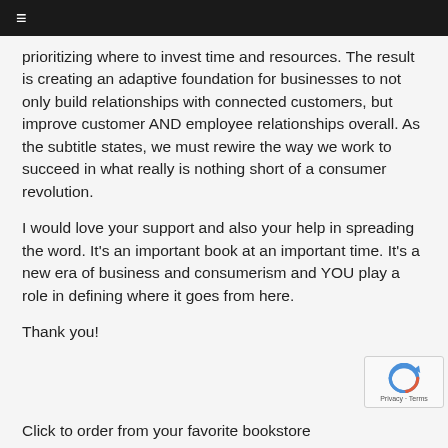≡
prioritizing where to invest time and resources. The result is creating an adaptive foundation for businesses to not only build relationships with connected customers, but improve customer AND employee relationships overall. As the subtitle states, we must rewire the way we work to succeed in what really is nothing short of a consumer revolution.
I would love your support and also your help in spreading the word. It's an important book at an important time. It's a new era of business and consumerism and YOU play a role in defining where it goes from here.
Thank you!
Click to order from your favorite bookstore